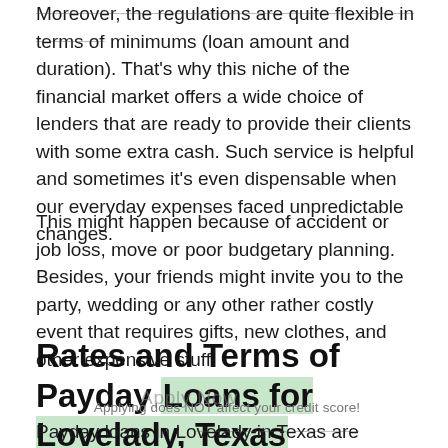Moreover, the regulations are quite flexible in terms of minimums (loan amount and duration). That's why this niche of the financial market offers a wide choice of lenders that are ready to provide their clients with some extra cash. Such service is helpful and sometimes it's even dispensable when our everyday expenses faced unpredictable changes.
This might happen because of accident or job loss, move or poor budgetary planning. Besides, your friends might invite you to the party, wedding or any other rather costly event that requires gifts, new clothes, and other expensive stuff.
Rates and Terms of Payday Loans for Lovelady, Texas
Applying does NOT affect your credit score!
Payday loans in Lovelady in Texas are remarkable for their